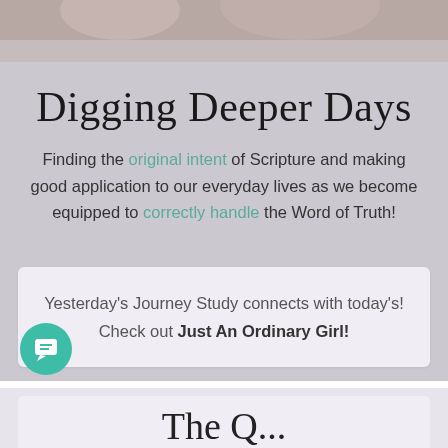[Figure (photo): Partial photo of people at the top of the page, cropped]
Digging Deeper Days
Finding the original intent of Scripture and making good application to our everyday lives as we become equipped to correctly handle the Word of Truth!
Yesterday's Journey Study connects with today's! Check out Just An Ordinary Girl!
The Q...